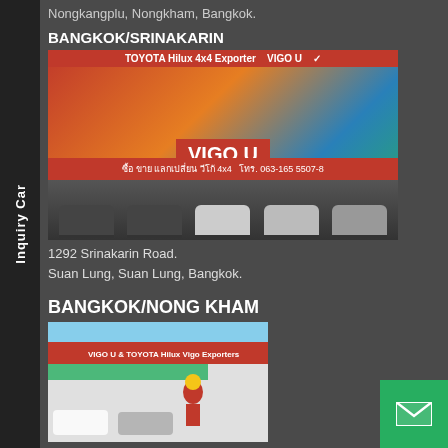Nongkangplu, Nongkham, Bangkok.
BANGKOK/SRINAKARIN
[Figure (photo): Car dealership storefront with Toyota Hilux Vigo vehicles, red banner with Thai text and phone number 063-165 5507, multiple pickup trucks parked in front]
1292 Srinakarin Road.
Suan Lung, Suan Lung, Bangkok.
BANGKOK/NONG KHAM
[Figure (photo): Vigo car dealership storefront with a man in red shirt standing in front, VIGO U Toyota Hilux Vigo Exporters signage]
768/1 Petchkasem Road.